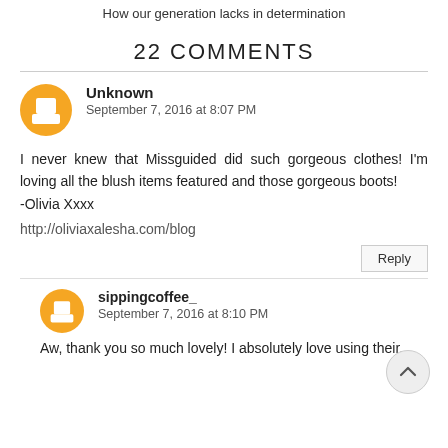How our generation lacks in determination
22 COMMENTS
Unknown
September 7, 2016 at 8:07 PM

I never knew that Missguided did such gorgeous clothes! I'm loving all the blush items featured and those gorgeous boots!
-Olivia Xxxx

http://oliviaxalesha.com/blog
sippingcoffee_
September 7, 2016 at 8:10 PM